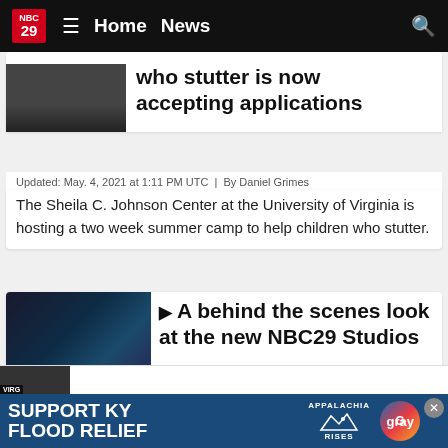NBC 29 | Home | News
who stutter is now accepting applications
Updated: May. 4, 2021 at 1:11 PM UTC | By Daniel Grimes
The Sheila C. Johnson Center at the University of Virginia is hosting a two week summer camp to help children who stutter.
[Figure (screenshot): Thumbnail image for NBC29 studios story with CHARLOTTESVIL... label]
A behind the scenes look at the new NBC29 Studios
Updated: May. 3, 2021 at 11:48 PM UTC | By Daniel Grimes
There have been a lot of changes at the NBC29 News studios.
[Figure (screenshot): Support KY Flood Relief - Appalachia Rises - Gray advertisement banner]